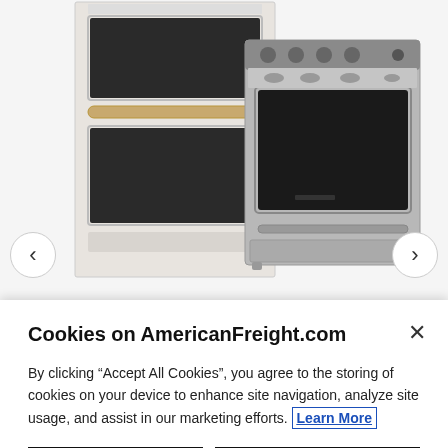[Figure (photo): Two kitchen appliances shown side by side: a white double wall oven (left) and a stainless steel electric range (right), shown on a light gray background with left/right navigation arrows]
Cookies on AmericanFreight.com
By clicking “Accept All Cookies”, you agree to the storing of cookies on your device to enhance site navigation, analyze site usage, and assist in our marketing efforts. Learn More
Reject All
Accept All Cookies
Cookies Settings
Complete your kitchen with this electric range by GE. The